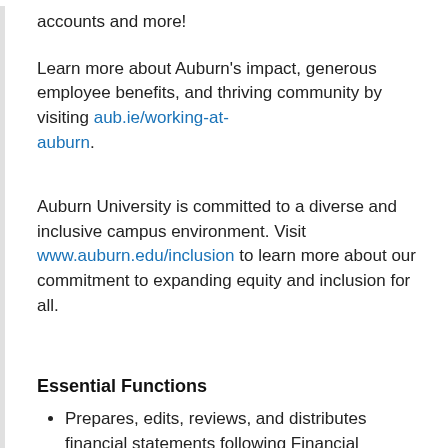accounts and more!
Learn more about Auburn's impact, generous employee benefits, and thriving community by visiting aub.ie/working-at-auburn.
Auburn University is committed to a diverse and inclusive campus environment. Visit www.auburn.edu/inclusion to learn more about our commitment to expanding equity and inclusion for all.
Essential Functions
Prepares, edits, reviews, and distributes financial statements following Financial Accounting Standards Board (FASB) guidelines.
Coordinates with external auditors to provide information and ensure compliance.
Prepares periodic financial reports for meetings of the